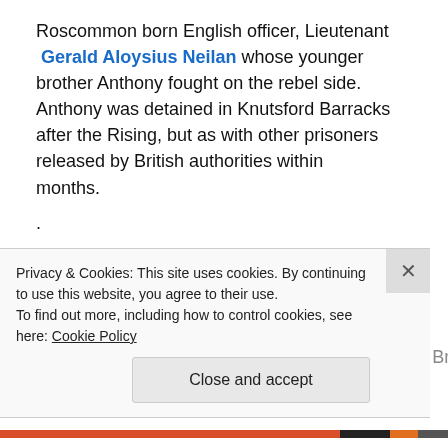Roscommon born English officer, Lieutenant Gerald Aloysius Neilan whose younger brother Anthony fought on the rebel side. Anthony was detained in Knutsford Barracks after the Rising, but as with other prisoners released by British authorities within months.
.
READ: Royal Dublin Fusiliers in 1916 Rising
.
Other high born (Dublin Families) soldiers in the British...
Privacy & Cookies: This site uses cookies. By continuing to use this website, you agree to their use. To find out more, including how to control cookies, see here: Cookie Policy
Close and accept